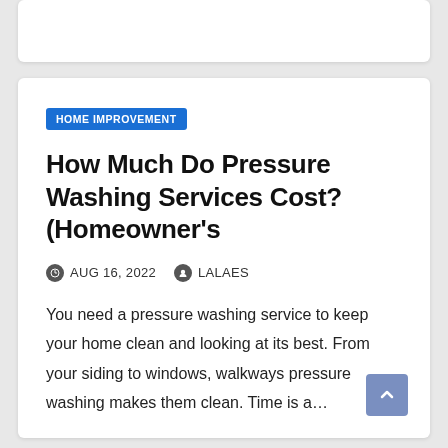HOME IMPROVEMENT
How Much Do Pressure Washing Services Cost? (Homeowner's
AUG 16, 2022   LALAES
You need a pressure washing service to keep your home clean and looking at its best. From your siding to windows, walkways pressure washing makes them clean. Time is a…